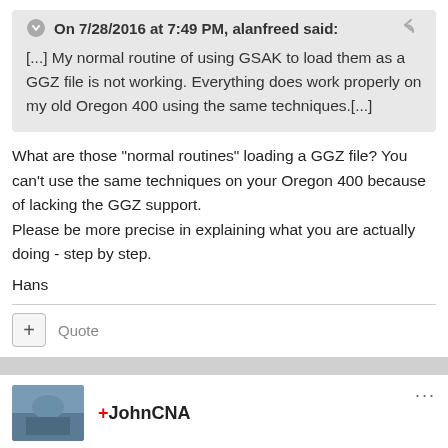On 7/28/2016 at 7:49 PM, alanfreed said:
[...] My normal routine of using GSAK to load them as a GGZ file is not working. Everything does work properly on my old Oregon 400 using the same techniques.[...]
What are those "normal routines" loading a GGZ file? You can't use the same techniques on your Oregon 400 because of lacking the GGZ support.
Please be more precise in explaining what you are actually doing - step by step.
Hans
Quote
+JohnCNA